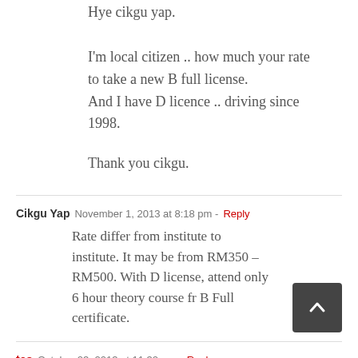Hye cikgu yap.

I'm local citizen .. how much your rate to take a new B full license.
And I have D licence .. driving since 1998.

Thank you cikgu.
Cikgu Yap   November 1, 2013 at 8:18 pm - Reply
Rate differ from institute to institute. It may be from RM350 – RM500. With D license, attend only 6 hour theory course fr B Full certificate.
teo   October 23, 2013 at 11:32 am - Reply
Hi cikgu Yap, do you have any